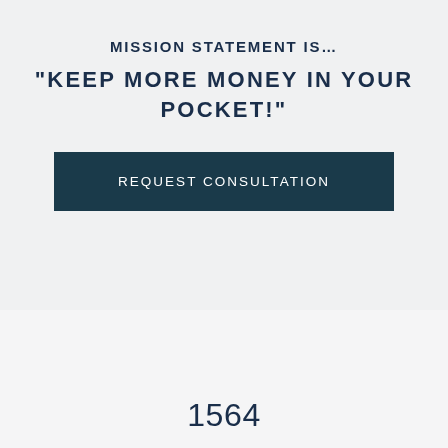MISSION STATEMENT IS…
“KEEP MORE MONEY IN YOUR POCKET!”
REQUEST CONSULTATION
1564